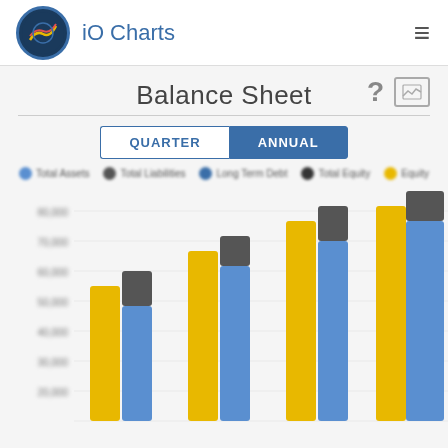iO Charts
Balance Sheet
[Figure (grouped-bar-chart): Annual balance sheet grouped bar chart with blurred labels. Three series shown: blue bars (Total Assets or similar), dark/gray bars (Total Liabilities or similar), and yellow bars (Equity or similar). Chart shows upward trend across years. Y-axis labels partially visible but blurred. Legend shows 5 series items blurred.]